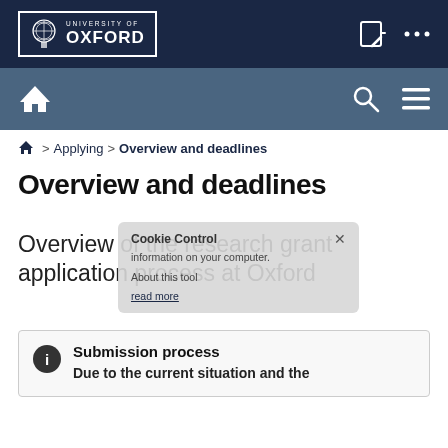[Figure (logo): University of Oxford logo with crest and text in white on dark navy header bar]
University of Oxford website navigation header with home, search, and menu icons
Home > Applying > Overview and deadlines
Overview and deadlines
Overview of the research grant application process at Oxford
Submission process
Due to the current situation and the